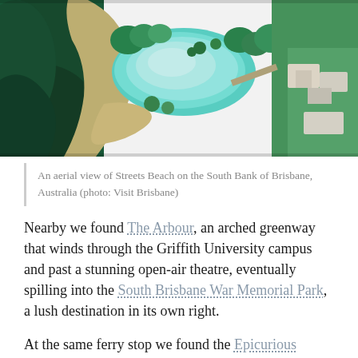[Figure (photo): Aerial view of Streets Beach on the South Bank of Brisbane, Australia, showing a lagoon-style pool surrounded by green trees and parkland, with the river visible in the background.]
An aerial view of Streets Beach on the South Bank of Brisbane, Australia (photo: Visit Brisbane)
Nearby we found The Arbour, an arched greenway that winds through the Griffith University campus and past a stunning open-air theatre, eventually spilling into the South Brisbane War Memorial Park, a lush destination in its own right.
At the same ferry stop we found the Epicurious Garden, a community picking garden that is as beautiful as it is